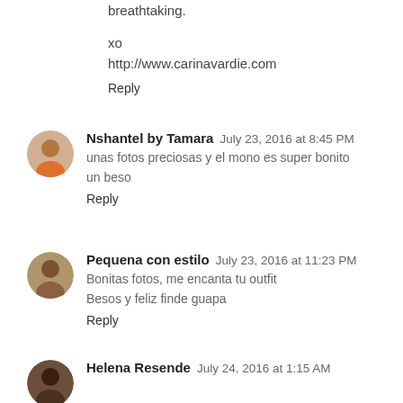breathtaking.

xo
http://www.carinavardie.com
Reply
Nshantel by Tamara  July 23, 2016 at 8:45 PM
unas fotos preciosas y el mono es super bonito
un beso
Reply
Pequena con estilo  July 23, 2016 at 11:23 PM
Bonitas fotos, me encanta tu outfit
Besos y feliz finde guapa
Reply
Helena Resende  July 24, 2016 at 1:15 AM